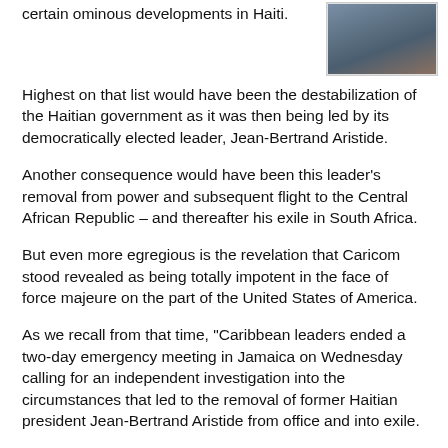certain ominous developments in Haiti.
[Figure (photo): Partial photo of a person, cropped, showing face/hand area with dark background]
Highest on that list would have been the destabilization of the Haitian government as it was then being led by its democratically elected leader, Jean-Bertrand Aristide.
Another consequence would have been this leader's removal from power and subsequent flight to the Central African Republic – and thereafter his exile in South Africa.
But even more egregious is the revelation that Caricom stood revealed as being totally impotent in the face of force majeure on the part of the United States of America.
As we recall from that time, "Caribbean leaders ended a two-day emergency meeting in Jamaica on Wednesday calling for an independent investigation into the circumstances that led to the removal of former Haitian president Jean-Bertrand Aristide from office and into exile.
Jamaican Prime Minister P.J Patterson, who is also chairman